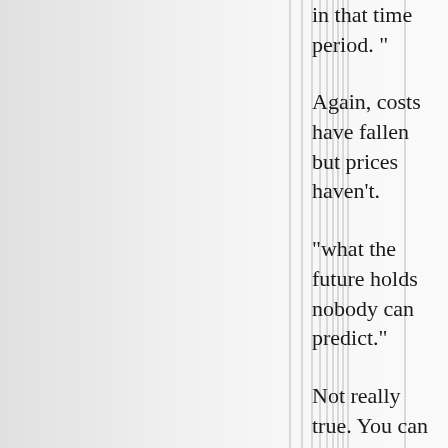in that time period. "
Again, costs have fallen but prices haven't.
"what the future holds nobody can predict."
Not really true. You can look at t...